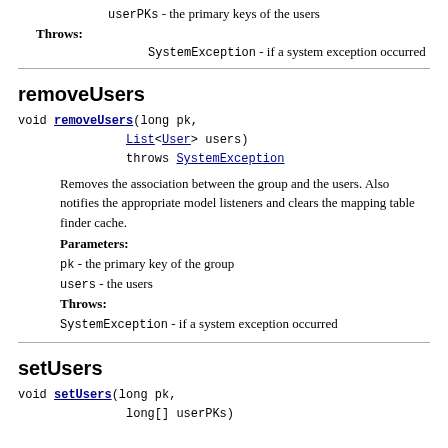userPKs - the primary keys of the users
Throws:
SystemException - if a system exception occurred
removeUsers
void removeUsers(long pk,
                 List<User> users)
                 throws SystemException
Removes the association between the group and the users. Also notifies the appropriate model listeners and clears the mapping table finder cache.
Parameters:
pk - the primary key of the group
users - the users
Throws:
SystemException - if a system exception occurred
setUsers
void setUsers(long pk,
              long[] userPKs)